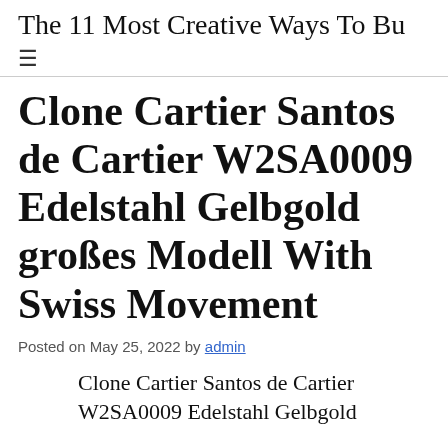The 11 Most Creative Ways To Bu
Clone Cartier Santos de Cartier W2SA0009 Edelstahl Gelbgold großes Modell With Swiss Movement
Posted on May 25, 2022 by admin
Clone Cartier Santos de Cartier W2SA0009 Edelstahl Gelbgold